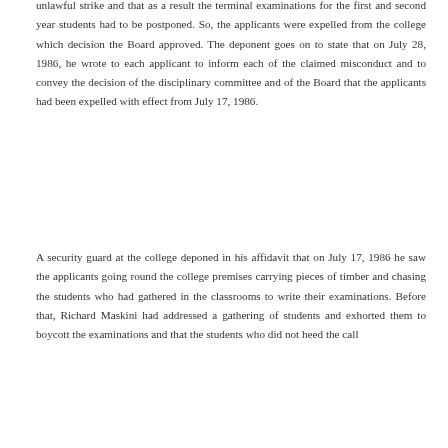unlawful strike and that as a result the terminal examinations for the first and second year students had to be postponed. So, the applicants were expelled from the college which decision the Board approved. The deponent goes on to state that on July 28, 1986, he wrote to each applicant to inform each of the claimed misconduct and to convey the decision of the disciplinary committee and of the Board that the applicants had been expelled with effect from July 17, 1986.
A security guard at the college deponed in his affidavit that on July 17, 1986 he saw the applicants going round the college premises carrying pieces of timber and chasing the students who had gathered in the classrooms to write their examinations. Before that, Richard Maskini had addressed a gathering of students and exhorted them to boycott the examinations and that the students who did not heed the call